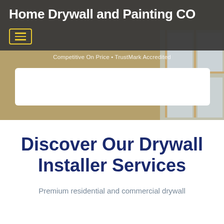[Figure (screenshot): Website hero background showing interior room with wooden window frames and walls being worked on]
Home Drywall and Painting CO
Competitive On Price • TrustMark Accredited
Discover Our Drywall Installer Services
Premium residential and commercial drywall